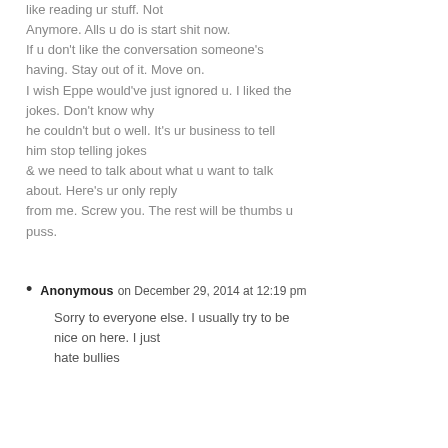like reading ur stuff. Not Anymore. Alls u do is start shit now. If u don't like the conversation someone's having. Stay out of it. Move on. I wish Eppe would've just ignored u. I liked the jokes. Don't know why he couldn't but o well. It's ur business to tell him stop telling jokes & we need to talk about what u want to talk about. Here's ur only reply from me. Screw you. The rest will be thumbs u puss.
Anonymous on December 29, 2014 at 12:19 pm
Sorry to everyone else. I usually try to be nice on here. I just hate bullies